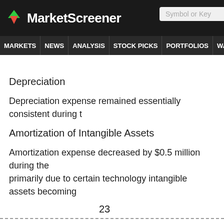MarketScreener
Depreciation
Depreciation expense remained essentially consistent during t
Amortization of Intangible Assets
Amortization expense decreased by $0.5 million during the primarily due to certain technology intangible assets becoming
23
Interest Expense